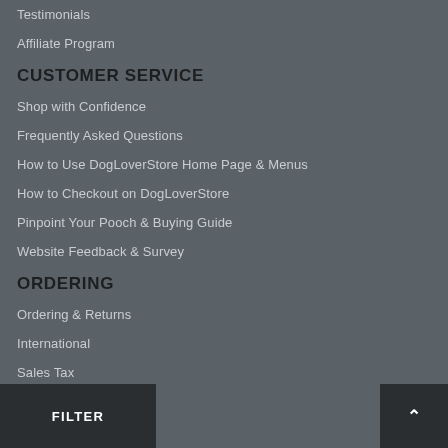Testimonials
Affiliate Program
CUSTOMER SERVICE
Shop with Confidence
Frequently Asked Questions
How to Use DogLoverStore Home Page & Menus
How to Checkout on DogLoverStore
Pinpoint Your Pooch & Buying Guide
Website Feedback & Survey
ORDERING
Ordering & Returns
International
Sales Tax
Wholesale
S...orestore.com